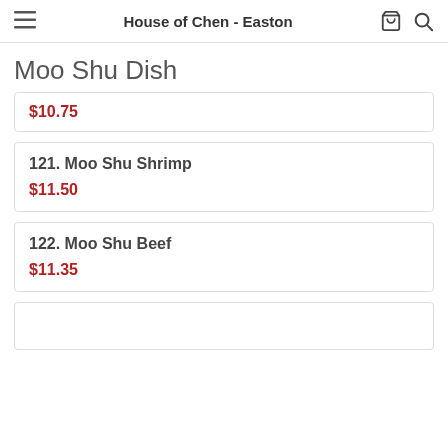House of Chen - Easton
Moo Shu Dish
$10.75
121. Moo Shu Shrimp
$11.50
122. Moo Shu Beef
$11.35